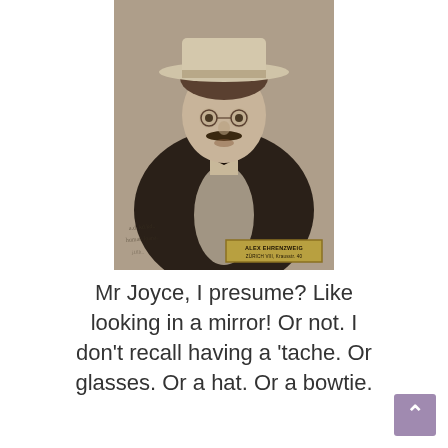[Figure (photo): Black and white portrait photograph of a man (James Joyce) wearing a hat, round glasses, a dark jacket, and a bow tie. A photographer's label reading 'ALEX EHRENZWEIG ZÜRICH VIII, Krausstr. 40' is visible at the bottom right of the photo.]
Mr Joyce, I presume? Like looking in a mirror! Or not. I don't recall having a 'tache. Or glasses. Or a hat. Or a bowtie.